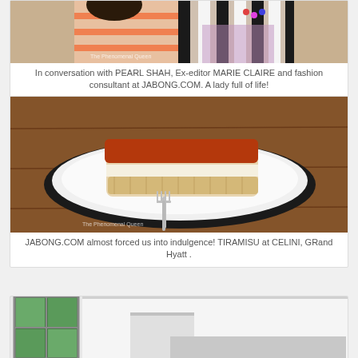[Figure (photo): Two women posing together, one in orange striped top, one in black and white striped blazer with floral top]
In conversation with PEARL SHAH, Ex-editor MARIE CLAIRE and fashion consultant at JABONG.COM. A lady full of life!
[Figure (photo): Tiramisu dessert on a white plate with a fork, at CELINI, Grand Hyatt]
JABONG.COM almost forced us into indulgence! TIRAMISU at CELINI, GRand Hyatt .
[Figure (photo): Interior room/restaurant scene with windows and white walls]